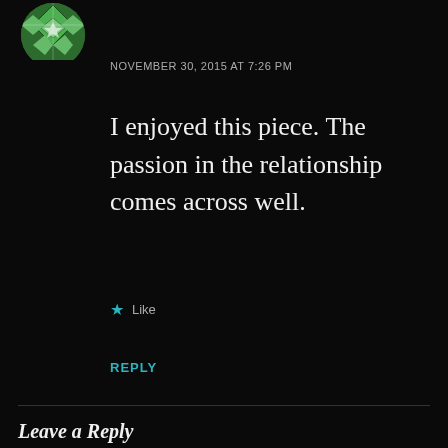[Figure (illustration): Green and white geometric/quilt pattern avatar icon, partially visible at top left]
NOVEMBER 30, 2015 AT 7:26 PM
I enjoyed this piece. The passion in the relationship comes across well.
★ Like
REPLY
Leave a Reply